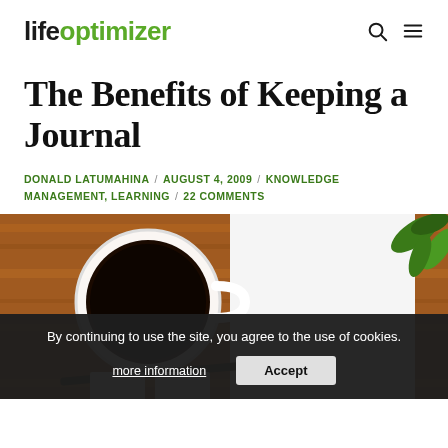lifeoptimizer
The Benefits of Keeping a Journal
DONALD LATUMAHINA / AUGUST 4, 2009 / KNOWLEDGE MANAGEMENT, LEARNING / 22 COMMENTS
[Figure (photo): Overhead flat-lay photo of a wooden desk with a white coffee cup filled with black coffee, white blank papers/notebook, a pen, and green plant leaves in the corner.]
By continuing to use the site, you agree to the use of cookies.
more information
Accept